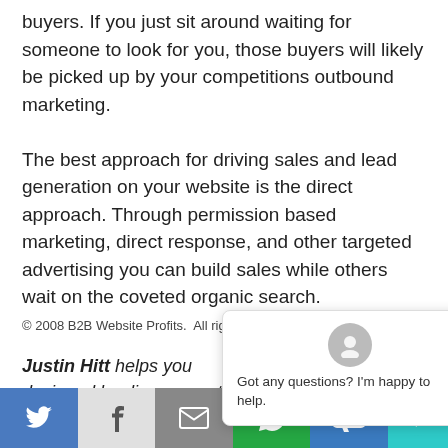buyers. If you just sit around waiting for someone to look for you, those buyers will likely be picked up by your competitions outbound marketing. The best approach for driving sales and lead generation on your website is the direct approach. Through permission based marketing, direct response, and other targeted advertising you can build sales while others wait on the coveted organic search.
© 2008 B2B Website Profits. All rights reserved.
[Figure (screenshot): Chat popup overlay with avatar icon, close (×) button, and text 'Got any questions? I'm happy to help.']
Justin Hitt helps you... designed landing pages that identify buyers quickly. Create demand with
[Figure (infographic): Social sharing bar at bottom with Twitter, Facebook, Email, WhatsApp, SMS icons and teal chat bubble button]